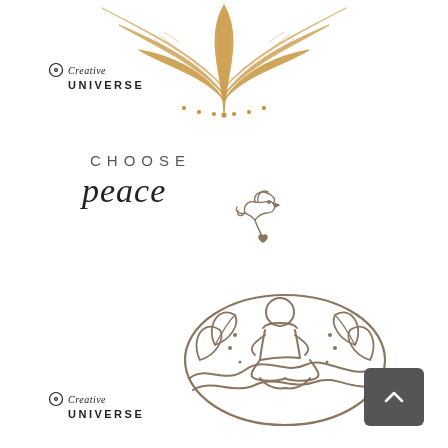[Figure (illustration): Gold ornate mandala/lotus decorative element at top center of page]
[Figure (logo): Creative Universe logo with circle-dot icon, cursive 'Creative' and bold 'UNIVERSE' text, top left]
CHOOSE
peace
[Figure (illustration): Small line-art dove carrying a heart]
[Figure (illustration): Line-art person in lotus meditation pose surrounded by leaves, enclosed in a circle]
[Figure (logo): Creative Universe logo with circle-dot icon, cursive 'Creative' and bold 'UNIVERSE' text, bottom left]
[Figure (other): Dark grey rounded rectangle button with upward chevron arrow, bottom right]